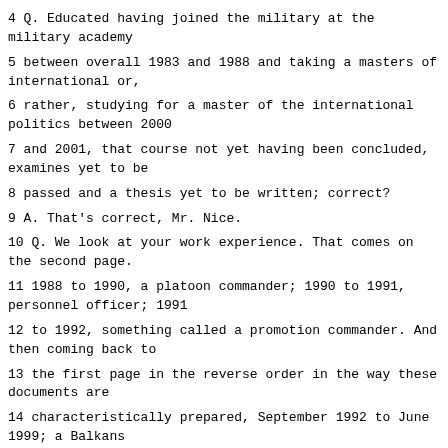4 Q. Educated having joined the military at the military academy
5 between overall 1983 and 1988 and taking a masters of international or,
6 rather, studying for a master of the international politics between 2000
7 and 2001, that course not yet having been concluded, examines yet to be
8 passed and a thesis yet to be written; correct?
9 A. That's correct, Mr. Nice.
10 Q. We look at your work experience. That comes on the second page.
11 1988 to 1990, a platoon commander; 1990 to 1991, personnel officer; 1991
12 to 1992, something called a promotion commander. And then coming back to
13 the first page in the reverse order in the way these documents are
14 characteristically prepared, September 1992 to June 1999; a Balkans